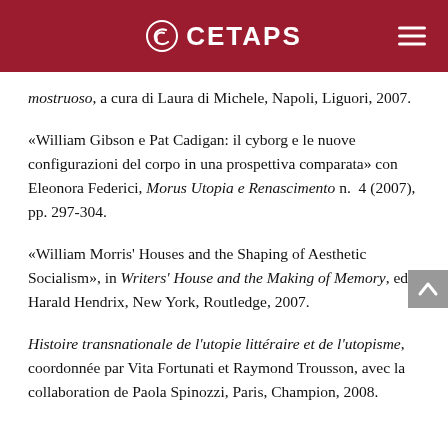CETAPS
mostruoso, a cura di Laura di Michele, Napoli, Liguori, 2007.
«William Gibson e Pat Cadigan: il cyborg e le nuove configurazioni del corpo in una prospettiva comparata» con Eleonora Federici, Morus Utopia e Renascimento n. 4 (2007), pp. 297-304.
«William Morris' Houses and the Shaping of Aesthetic Socialism», in Writers' House and the Making of Memory, ed Harald Hendrix, New York, Routledge, 2007.
Histoire transnationale de l'utopie littéraire et de l'utopisme, coordonnée par Vita Fortunati et Raymond Trousson, avec la collaboration de Paola Spinozzi, Paris, Champion, 2008.